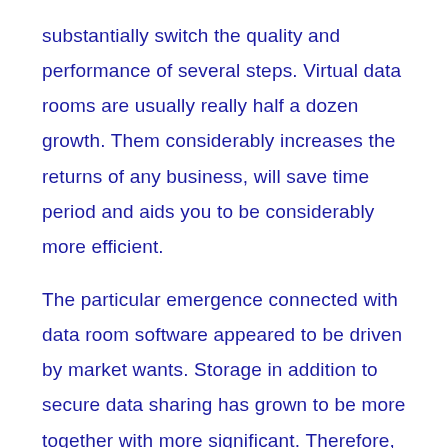substantially switch the quality and performance of several steps. Virtual data rooms are usually really half a dozen growth. Them considerably increases the returns of any business, will save time period and aids you to be considerably more efficient.
The particular emergence connected with data room software appeared to be driven by market wants. Storage in addition to secure data sharing has grown to be more together with more significant. Therefore, a special cloud storage devices was developed, which was distinguished